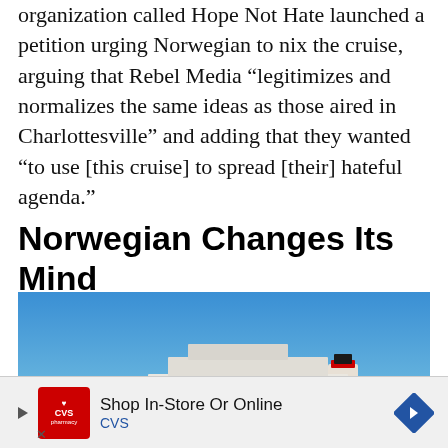organization called Hope Not Hate launched a petition urging Norwegian to nix the cruise, arguing that Rebel Media “hegitimizes and normalizes the same ideas as those aired in Charlottesville” and adding that they wanted “to use [this cruise] to spread [their] hateful agenda.”
Norwegian Changes Its Mind
[Figure (photo): A large Norwegian cruise ship sailing on blue ocean water under a clear blue sky, viewed from a slightly elevated angle showing the bow and starboard side.]
[Figure (other): CVS Pharmacy advertisement banner: Shop In-Store Or Online, CVS]